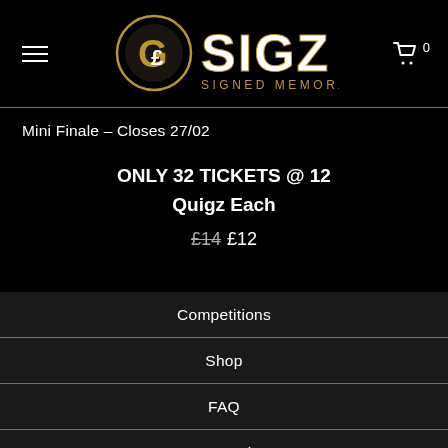SIGZ SIGNED MEMORABILIA — navigation header with hamburger menu, logo, and cart icon showing 0
Mini Finale – Closes 27/02
ONLY 32 TICKETS @ 12 Quigz Each
£14 £12
Competitions
Shop
FAQ
How To Play